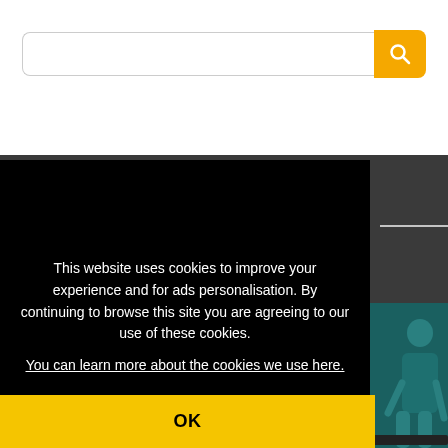[Figure (screenshot): Search bar with white input field and orange search button with magnifying glass icon]
This website uses cookies to improve your experience and for ads personalisation. By continuing to browse this site you are agreeing to our use of these cookies.
You can learn more about the cookies we use here.
OK
[Figure (photo): Person in teal/green outfit in bottom right corner]